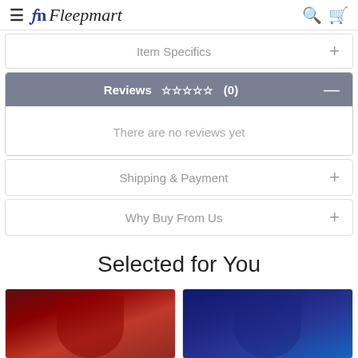Fleepmart - navigation bar with hamburger menu, logo, search and cart icons
Item Specifics
Reviews ☆☆☆☆☆ (0)
There are no reviews yet
Shipping & Payment
Why Buy From Us
Selected for You
[Figure (photo): Woman wearing a red velvet dress]
[Figure (photo): Woman wearing a blue sequin dress]